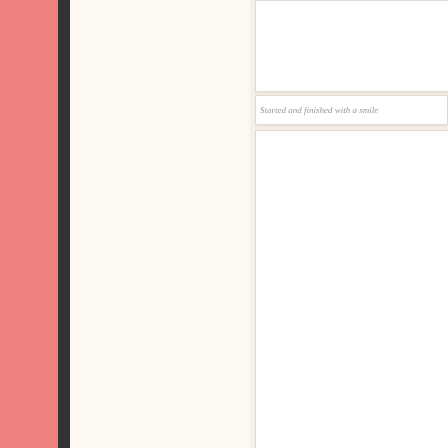[Figure (other): Pink sidebar bar on the left edge of the page]
[Figure (other): Dark charcoal vertical bar next to the pink sidebar]
[Figure (other): Cream/off-white vertical area in the center-left]
[Figure (other): White card panel at top right, partially visible, appears to be a photo or content card]
Started and finished with a smile
[Figure (other): Large white card panel at bottom right with an inner inset white rectangle, appears to be a photo placeholder or content area]